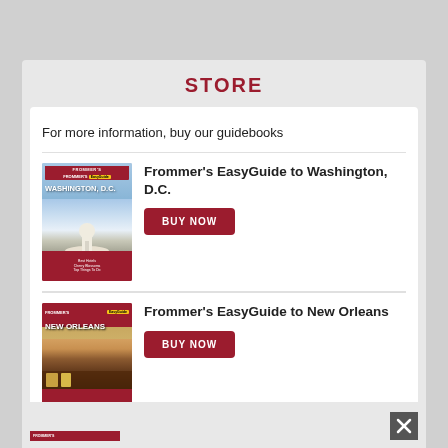STORE
For more information, buy our guidebooks
[Figure (photo): Frommer's EasyGuide to Washington D.C. book cover showing the U.S. Capitol building with cherry blossoms]
Frommer's EasyGuide to Washington, D.C.
BUY NOW
[Figure (photo): Frommer's EasyGuide to New Orleans book cover showing street musicians in colorful attire]
Frommer's EasyGuide to New Orleans
BUY NOW